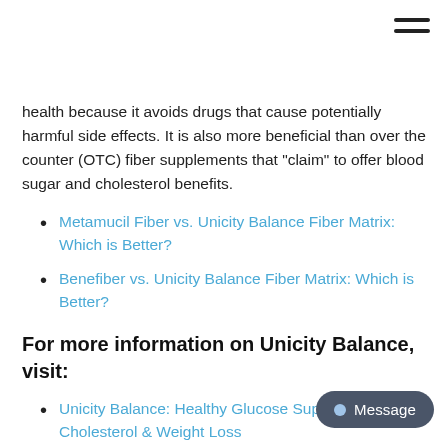health because it avoids drugs that cause potentially harmful side effects. It is also more beneficial than over the counter (OTC) fiber supplements that "claim" to offer blood sugar and cholesterol benefits.
Metamucil Fiber vs. Unicity Balance Fiber Matrix: Which is Better?
Benefiber vs. Unicity Balance Fiber Matrix: Which is Better?
For more information on Unicity Balance, visit:
Unicity Balance: Healthy Glucose Support, Cholesterol & Weight Loss
FAQ: Unicity Balance Fiber Frequently Asked